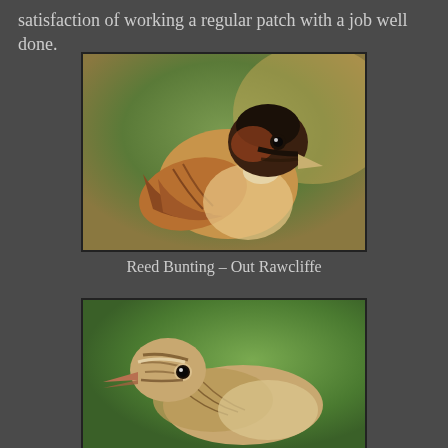satisfaction of working a regular patch with a job well done.
[Figure (photo): Close-up photograph of a Reed Bunting bird showing brown, black and cream plumage with orange-brown wing feathers, against a blurred green and brown background.]
Reed Bunting – Out Rawcliffe
[Figure (photo): Close-up photograph of a small brown streaked bird (pipit or lark type) showing striped head and face markings against a blurred green background.]